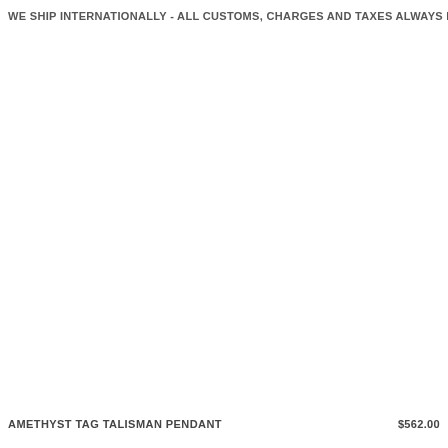WE SHIP INTERNATIONALLY - ALL CUSTOMS, CHARGES AND TAXES ALWAYS INCLUD
AMETHYST TAG TALISMAN PENDANT    $562.00